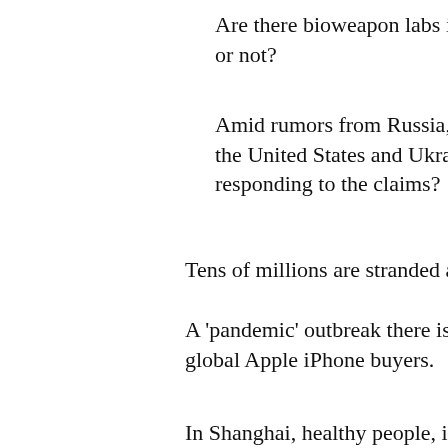Are there bioweapon labs in Uk or not?
Amid rumors from Russia, how the United States and Ukraine responding to the claims?
Tens of millions are stranded at hom
A 'pandemic' outbreak there is causir global Apple iPhone buyers.
In Shanghai, healthy people, includin and pregnant women, are being held quarantine alongside confirmed viru
That's as 50,000 people live through at a beauty expo.
In the Indo-Pacific region, a U.S. ally willing to open military bases to Am